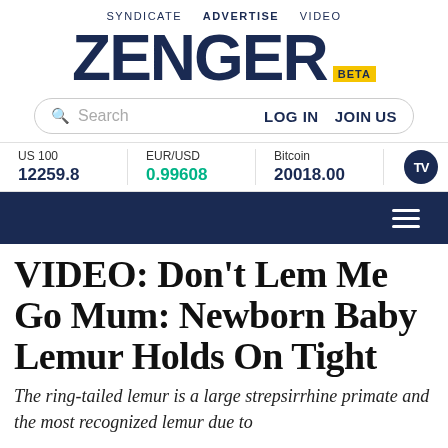SYNDICATE  ADVERTISE  VIDEO
ZENGER BETA
[Figure (screenshot): Search bar with LOG IN and JOIN US links]
US 100  12259.8  EUR/USD  0.99608  Bitcoin  20018.00
VIDEO: Don't Lem Me Go Mum: Newborn Baby Lemur Holds On Tight
The ring-tailed lemur is a large strepsirrhine primate and the most recognized lemur due to